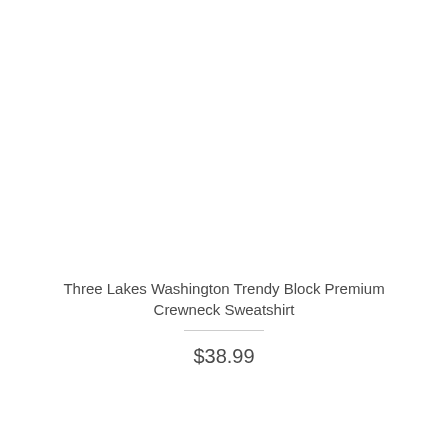Three Lakes Washington Trendy Block Premium Crewneck Sweatshirt
$38.99